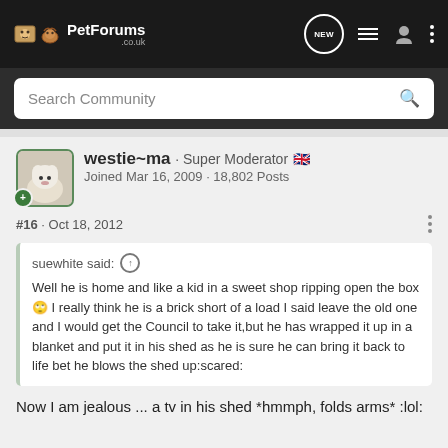[Figure (screenshot): PetForums.co.uk website navigation bar with logo, search bar, and navigation icons]
westie~ma · Super Moderator 🇬🇧
Joined Mar 16, 2009 · 18,802 Posts
#16 · Oct 18, 2012
suewhite said: ↑
Well he is home and like a kid in a sweet shop ripping open the box 🙄 I really think he is a brick short of a load I said leave the old one and I would get the Council to take it,but he has wrapped it up in a blanket and put it in his shed as he is sure he can bring it back to life bet he blows the shed up:scared:
Now I am jealous ... a tv in his shed *hmmph, folds arms* :lol: